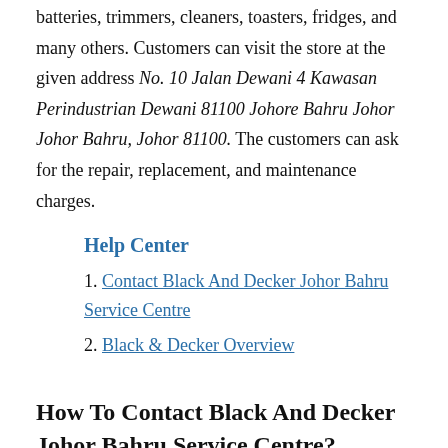batteries, trimmers, cleaners, toasters, fridges, and many others. Customers can visit the store at the given address No. 10 Jalan Dewani 4 Kawasan Perindustrian Dewani 81100 Johore Bahru Johor Johor Bahru, Johor 81100. The customers can ask for the repair, replacement, and maintenance charges.
Help Center
Contact Black And Decker Johor Bahru Service Centre
Black & Decker Overview
How To Contact Black And Decker Johor Bahru Service Centre?